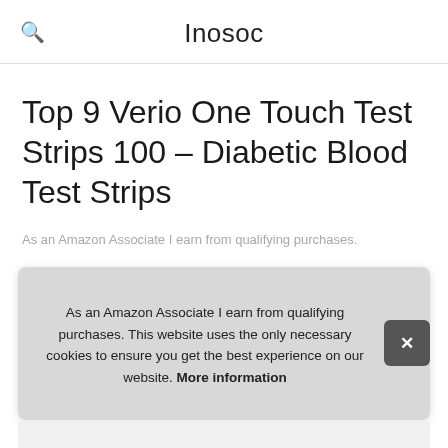Inosoc
Top 9 Verio One Touch Test Strips 100 – Diabetic Blood Test Strips
As an Amazon Associate I earn from qualifying purchases.
1. ONETOUCH
#ad
As an Amazon Associate I earn from qualifying purchases. This website uses the only necessary cookies to ensure you get the best experience on our website. More information